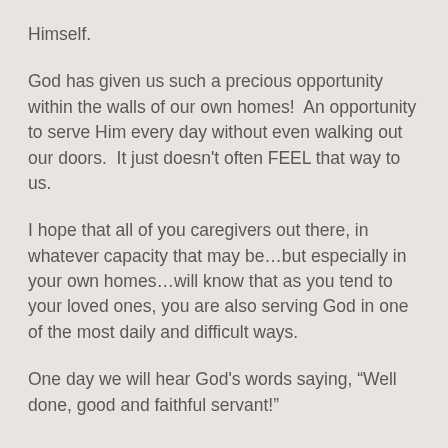Himself.
God has given us such a precious opportunity within the walls of our own homes!  An opportunity to serve Him every day without even walking out our doors.  It just doesn't often FEEL that way to us.
I hope that all of you caregivers out there, in whatever capacity that may be…but especially in your own homes…will know that as you tend to your loved ones, you are also serving God in one of the most daily and difficult ways.
One day we will hear God's words saying, “Well done, good and faithful servant!”